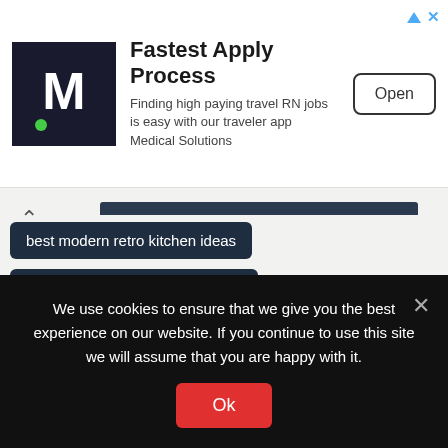[Figure (screenshot): Ad banner with M logo, 'Fastest Apply Process' heading, subtext about travel RN jobs, and Open button]
best modern retro kitchen ideas
best simple kitchen design ideas
best small kitchen storage organization ideas
Best tile for kitchen interior
blue kitchen design ideas
brushed nickel vs satin nickel
design your own kitchen
kitchen design
kitchen design vintage styles
We use cookies to ensure that we give you the best experience on our website. If you continue to use this site we will assume that you are happy with it.